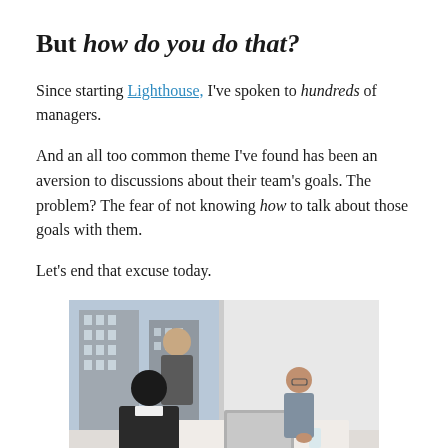But how do you do that?
Since starting Lighthouse, I've spoken to hundreds of managers.
And an all too common theme I've found has been an aversion to discussions about their team's goals. The problem? The fear of not knowing how to talk about those goals with them.
Let's end that excuse today.
[Figure (photo): Three people in a modern office meeting room with large windows. One person stands near the window, another sits in the foreground with their back to the viewer, and a third sits across the table with a laptop.]